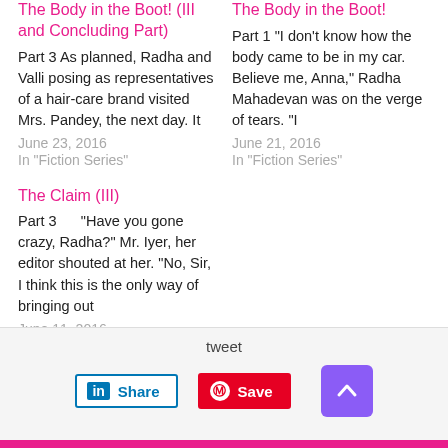The Body in the Boot! (III and Concluding Part)
Part 3 As planned, Radha and Valli posing as representatives of a hair-care brand visited Mrs. Pandey, the next day. It
June 23, 2016
In "Fiction Series"
The Body in the Boot!
Part 1 “I don’t know how the body came to be in my car. Believe me, Anna,” Radha Mahadevan was on the verge of tears. “I
June 21, 2016
In "Fiction Series"
The Claim (III)
Part 3      “Have you gone crazy, Radha?” Mr. Iyer, her editor shouted at her. “No, Sir, I think this is the only way of bringing out
June 11, 2016
In "Fiction Series"
tweet  Share  Save